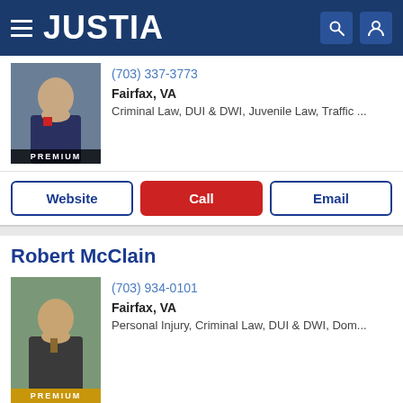JUSTIA
(703) 337-3773
Fairfax, VA
Criminal Law, DUI & DWI, Juvenile Law, Traffic ...
Website  Call  Email
Robert McClain
(703) 934-0101
Fairfax, VA
Personal Injury, Criminal Law, DUI & DWI, Dom...
Website  Call  Email
Jonathan Sooriash